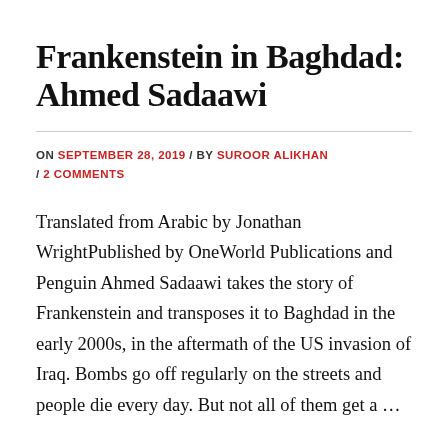Frankenstein in Baghdad: Ahmed Sadaawi
ON SEPTEMBER 28, 2019 / BY SUROOR ALIKHAN / 2 COMMENTS
Translated from Arabic by Jonathan WrightPublished by OneWorld Publications and Penguin Ahmed Sadaawi takes the story of Frankenstein and transposes it to Baghdad in the early 2000s, in the aftermath of the US invasion of Iraq. Bombs go off regularly on the streets and people die every day. But not all of them get a …